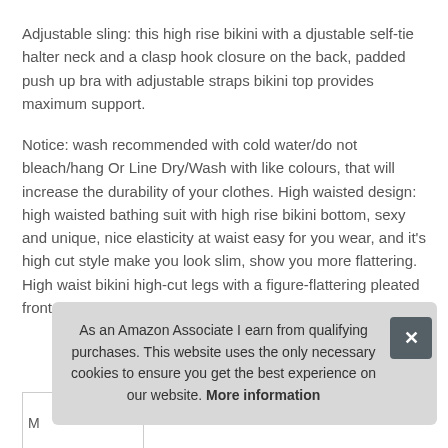Adjustable sling: this high rise bikini with a djustable self-tie halter neck and a clasp hook closure on the back, padded push up bra with adjustable straps bikini top provides maximum support.
Notice: wash recommended with cold water/do not bleach/hang Or Line Dry/Wash with like colours, that will increase the durability of your clothes. High waisted design: high waisted bathing suit with high rise bikini bottom, sexy and unique, nice elasticity at waist easy for you wear, and it's high cut style make you look slim, show you more flattering. High waist bikini high-cut legs with a figure-flattering pleated front panel hides the imperfections you don't prefer to show.
As an Amazon Associate I earn from qualifying purchases. This website uses the only necessary cookies to ensure you get the best experience on our website. More information